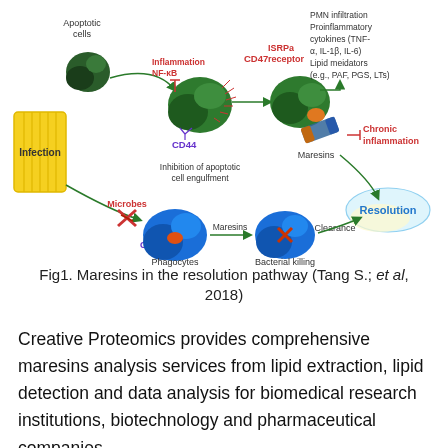[Figure (infographic): Diagram showing Maresins in the resolution pathway. Includes apoptotic cells, infection source (yellow), macrophages with CD47, CD44, ISRPa receptor, Inflammation NF-kB labels. Arrows show pathway through inhibition of apoptotic cell engulfment, PMN infiltration, proinflammatory cytokines (TNF-alpha, IL-1beta, IL-6), lipid mediators (e.g., PAF, PGS, LTs), Maresins blocking chronic inflammation, leading to Resolution. Lower pathway shows Microbes, Phagocytes (blue, CD44), Maresins leading to Bacterial killing, then Clearance to Resolution.]
Fig1. Maresins in the resolution pathway (Tang S.; et al, 2018)
Creative Proteomics provides comprehensive maresins analysis services from lipid extraction, lipid detection and data analysis for biomedical research institutions, biotechnology and pharmaceutical companies.